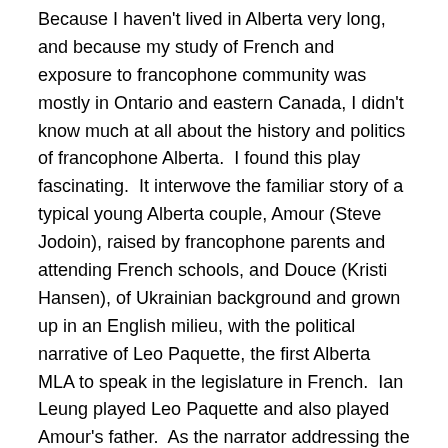Because I haven't lived in Alberta very long, and because my study of French and exposure to francophone community was mostly in Ontario and eastern Canada, I didn't know much at all about the history and politics of francophone Alberta.  I found this play fascinating.  It interwove the familiar story of a typical young Alberta couple, Amour (Steve Jodoin), raised by francophone parents and attending French schools, and Douce (Kristi Hansen), of Ukrainian background and grown up in an English milieu, with the political narrative of Leo Paquette, the first Alberta MLA to speak in the legislature in French.  Ian Leung played Leo Paquette and also played Amour's father.  As the narrator addressing the audience at the start, he speaks clearly and slowly in French and in code-switched French and English, engaging the cautious audience and reassuring us that we'd be able to follow.  As M. Paquette, his formal speeches in the legislature are